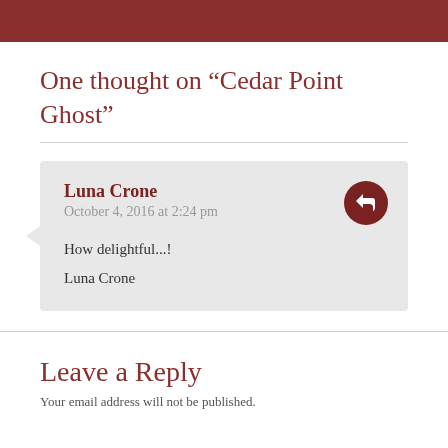One thought on “Cedar Point Ghost”
Luna Crone
October 4, 2016 at 2:24 pm

How delightful...!

Luna Crone
Leave a Reply
Your email address will not be published.